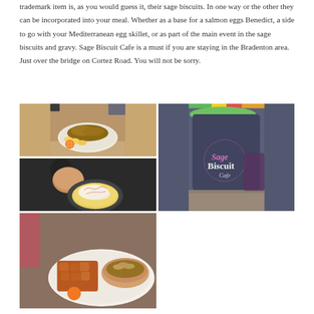trademark item is, as you would guess it, their sage biscuits. In one way or the other they can be incorporated into your meal. Whether as a base for a salmon eggs Benedict, a side to go with your Mediterranean egg skillet, or as part of the main event in the sage biscuits and gravy. Sage Biscuit Cafe is a must if you are staying in the Bradenton area. Just over the bridge on Cortez Road. You will not be sorry.
[Figure (photo): Four food photos arranged in a 2x2 grid: top-left shows a plate of food with banana slices and orange, top-right (spanning two rows) shows a dark blue Sage Biscuit Cafe mug with green liquid, bottom-left shows a cast iron skillet with egg dish and a biscuit, bottom-right shows a plate with biscuits and gravy with home fries.]